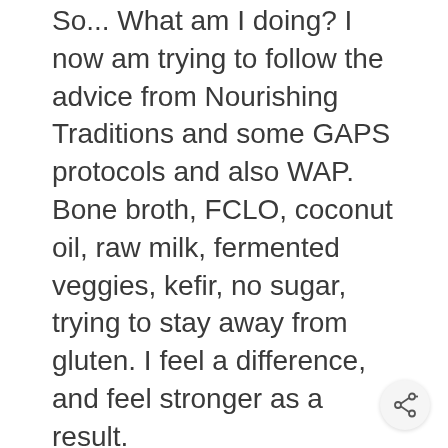So... What am I doing? I now am trying to follow the advice from Nourishing Traditions and some GAPS protocols and also WAP. Bone broth, FCLO, coconut oil, raw milk, fermented veggies, kefir, no sugar, trying to stay away from gluten. I feel a difference, and feel stronger as a result.
The stress one, though? I wish I had help with that. My mom died when I was a baby and when I was 3 years old, my stepmom came into my life. She was the one who taught me about eating healthy, herbs, etc. And now, after 34 years of being my mom, she is dwindling with fronto temporal dementia. We moved across